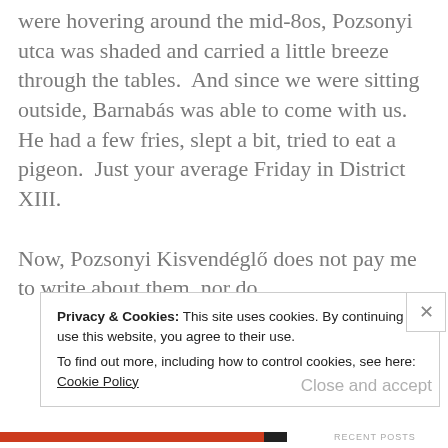were hovering around the mid-80s, Pozsonyi utca was shaded and carried a little breeze through the tables.  And since we were sitting outside, Barnabás was able to come with us.  He had a few fries, slept a bit, tried to eat a pigeon.  Just your average Friday in District XIII.

Now, Pozsonyi Kisvendéglő does not pay me to write about them, nor do
Privacy & Cookies: This site uses cookies. By continuing to use this website, you agree to their use.
To find out more, including how to control cookies, see here: Cookie Policy
Close and accept